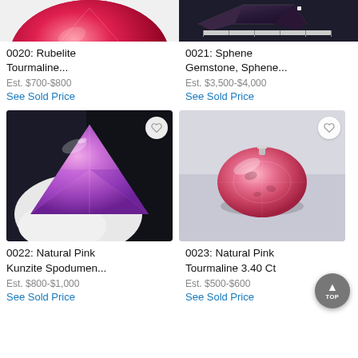[Figure (photo): Partial view of a red/pink rubelite tourmaline gemstone, cropped at top]
[Figure (photo): Partial view of a sphene gemstone (dark colored, elongated) with ruler, cropped at top]
0020: Rubelite Tourmaline...
Est. $700-$800
See Sold Price
0021: Sphene Gemstone, Sphene...
Est. $3,500-$4,000
See Sold Price
[Figure (photo): Natural Pink Kunzite Spodumene gemstone, large triangular/trillion cut, vivid pink/purple, held in white gloved hand against dark background]
[Figure (photo): Natural Pink Tourmaline 3.40 Ct, oval cut, light pink with inclusions, on white background with metal prong holder]
0022: Natural Pink Kunzite Spodumen...
Est. $800-$1,000
See Sold Price
0023: Natural Pink Tourmaline 3.40 Ct
Est. $500-$600
See Sold Price